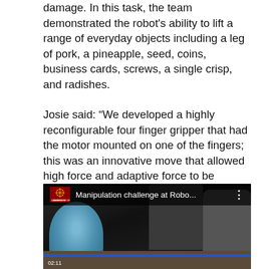damage. In this task, the team demonstrated the robot's ability to lift a range of everyday objects including a leg of pork, a pineapple, seed, coins, business cards, screws, a single crisp, and radishes.
Josie said: “We developed a highly reconfigurable four finger gripper that had the motor mounted on one of the fingers; this was an innovative move that allowed high force and adaptive force to be achieved. We also exploited the power of materials which, in this instance, involved attaching a reusable putty-like adhesive to our gripper in order to enable the manipulation of small complex objects.”
[Figure (screenshot): YouTube video thumbnail showing a robotic arm (blue/teal gripper) on the left with people standing in the background. Top bar shows University of Cambridge logo and title 'Manipulation challenge at Robo...' with a three-dot menu. Timestamp 02:11 visible at bottom left.]